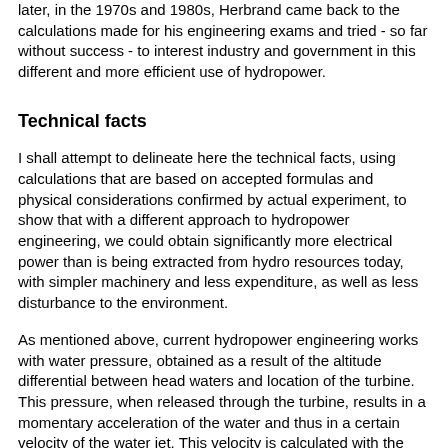later, in the 1970s and 1980s, Herbrand came back to the calculations made for his engineering exams and tried - so far without success - to interest industry and government in this different and more efficient use of hydropower.
Technical facts
I shall attempt to delineate here the technical facts, using calculations that are based on accepted formulas and physical considerations confirmed by actual experiment, to show that with a different approach to hydropower engineering, we could obtain significantly more electrical power than is being extracted from hydro resources today, with simpler machinery and less expenditure, as well as less disturbance to the environment.
As mentioned above, current hydropower engineering works with water pressure, obtained as a result of the altitude differential between head waters and location of the turbine. This pressure, when released through the turbine, results in a momentary acceleration of the water and thus in a certain velocity of the water jet. This velocity is calculated with the formula